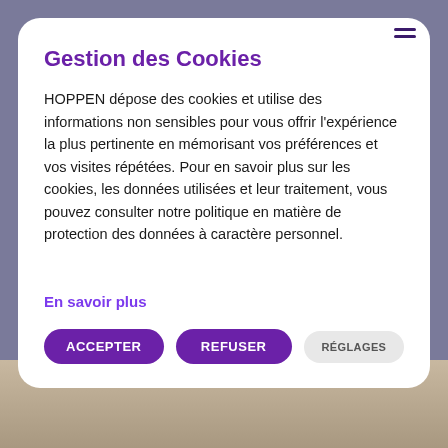Gestion des Cookies
HOPPEN dépose des cookies et utilise des informations non sensibles pour vous offrir l'expérience la plus pertinente en mémorisant vos préférences et vos visites répétées. Pour en savoir plus sur les cookies, les données utilisées et leur traitement, vous pouvez consulter notre politique en matière de protection des données à caractère personnel.
En savoir plus
[Figure (screenshot): Cookie consent modal dialog on the HOPPEN website with Accept, Refuse and Settings buttons at the bottom, overlaid on a page showing a person in the background.]